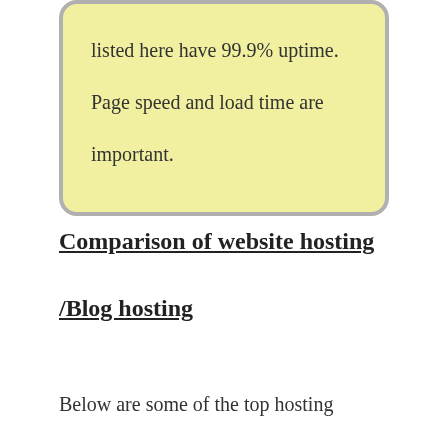listed here have 99.9% uptime. Page speed and load time are important.
Comparison of website hosting
/Blog hosting
Below are some of the top hosting providers in the website and blogging